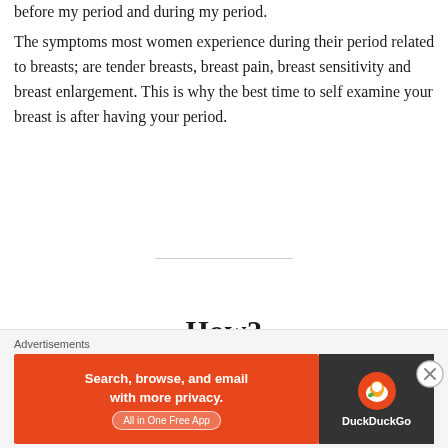before my period and during my period.
The symptoms most women experience during their period related to breasts; are tender breasts, breast pain, breast sensitivity and breast enlargement. This is why the best time to self examine your breast is after having your period.
How?
Advertisements